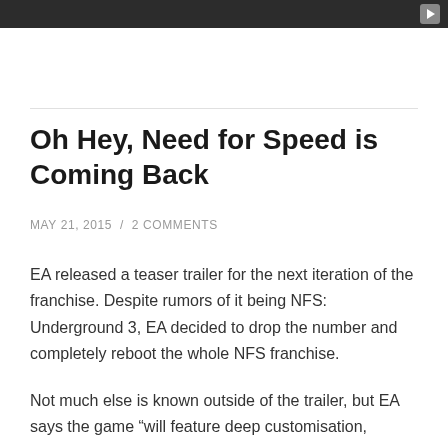[Figure (screenshot): Dark video player bar at the top of the page with a play button in the top-right corner]
Oh Hey, Need for Speed is Coming Back
MAY 21, 2015  /  2 COMMENTS
EA released a teaser trailer for the next iteration of the franchise. Despite rumors of it being NFS: Underground 3, EA decided to drop the number and completely reboot the whole NFS franchise.
Not much else is known outside of the trailer, but EA says the game “will feature deep customisation,